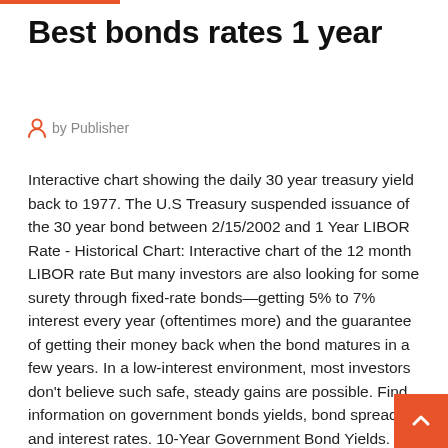Best bonds rates 1 year
by Publisher
Interactive chart showing the daily 30 year treasury yield back to 1977. The U.S Treasury suspended issuance of the 30 year bond between 2/15/2002 and 1 Year LIBOR Rate - Historical Chart: Interactive chart of the 12 month LIBOR rate But many investors are also looking for some surety through fixed-rate bonds—getting 5% to 7% interest every year (oftentimes more) and the guarantee of getting their money back when the bond matures in a few years. In a low-interest environment, most investors don't believe such safe, steady gains are possible. Find information on government bonds yields, bond spreads, and interest rates. 10-Year Government Bond Yields. Country Yield 1 Day 1 Month 1 Year Time (EDT) Germany » -0.47% +8-6-55: 1 year fixed rate bonds offer higher interest rates when you put your money away for one year. Your rate will not drop and your money will grow for a whole